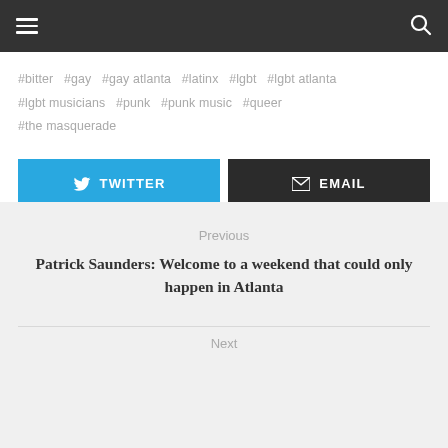≡  🔍
#bitter  #gay  #gay atlanta  #latinx  #lgbt  #lgbt atlanta  #lgbt musicians  #punk  #punk music  #queer  #the masquerade
TWITTER  EMAIL
Previous
Patrick Saunders: Welcome to a weekend that could only happen in Atlanta
Next